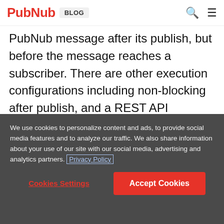PubNub BLOG
PubNub message after its publish, but before the message reaches a subscriber. There are other execution configurations including non-blocking after publish, and a REST API Endpoint that can be accessed like a Node.js server. State can be managed using a built using KV-Store within the functions environment. There is also a catalog of open source, 3rd party integrations on the PubNub
We use cookies to personalize content and ads, to provide social media features and to analyze our traffic. We also share information about your use of our site with our social media, advertising and analytics partners. Privacy Policy
Cookies Settings
Accept Cookies